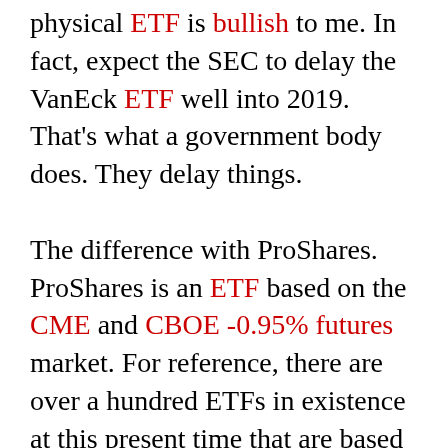physical ETF is bullish to me. In fact, expect the SEC to delay the VanEck ETF well into 2019. That's what a government body does. They delay things.

The difference with ProShares. ProShares is an ETF based on the CME and CBOE -0.95% futures market. For reference, there are over a hundred ETFs in existence at this present time that are based on futures markets. That being said, CME and CBOE -0.95% both have the blessing of the CFTC and are approved and regulated by the CFTC for their Bitcoin futures 4.03% contracts. I read an article about some of the SEC concerns with the